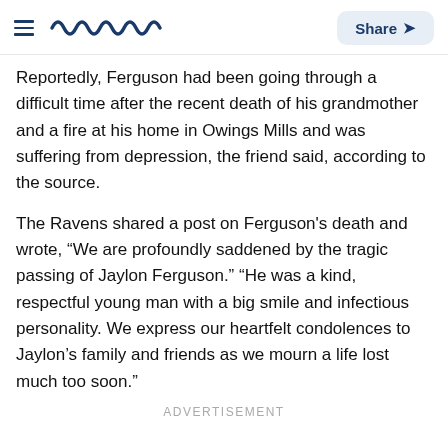Meaww | Share
Reportedly, Ferguson had been going through a difficult time after the recent death of his grandmother and a fire at his home in Owings Mills and was suffering from depression, the friend said, according to the source.
The Ravens shared a post on Ferguson's death and wrote, “We are profoundly saddened by the tragic passing of Jaylon Ferguson.” “He was a kind, respectful young man with a big smile and infectious personality. We express our heartfelt condolences to Jaylon’s family and friends as we mourn a life lost much too soon.”
ADVERTISEMENT